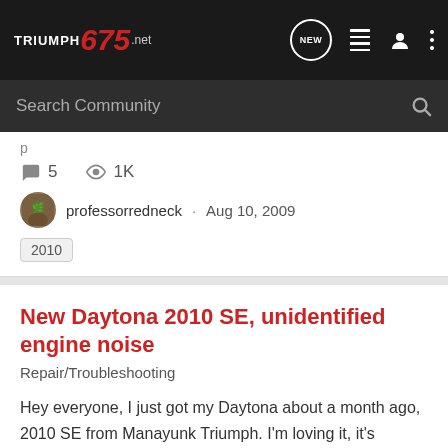TRIUMPH 675 .NET
Search Community
5  1K
professorredneck · Aug 10, 2009
2010
New Daytona 2010 SE, unidentified engine noise
Repair/Troubleshooting
Hey everyone, I just got my Daytona about a month ago, 2010 SE from Manayunk Triumph. I'm loving it, it's extremely fun to ride, and the guys at the dealership were great. However, ever since I got my 500 mile service done, I've been noticing a chatter/rattle that sounds like it's coming from...